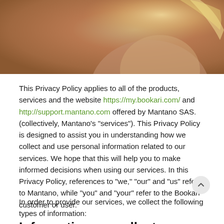[Figure (photo): Close-up photo of a person with blonde hair against a warm brown/golden background, showing partial shoulder and neck]
This Privacy Policy applies to all of the products, services and the website https://my.bookari.com/ and http://support.mantano.com offered by Mantano SAS. (collectively, Mantano’s “services”). This Privacy Policy is designed to assist you in understanding how we collect and use personal information related to our services. We hope that this will help you to make informed decisions when using our services. In this Privacy Policy, references to “we,” “our” and “us” refer to Mantano, while “you” and “your” refer to the Bookari customer or user.
Information we collect
In order to provide our services, we collect the following types of information: